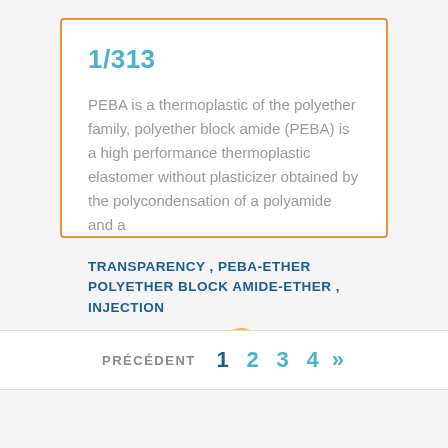1/313
PEBA is a thermoplastic of the polyether family, polyether block amide (PEBA) is a high performance thermoplastic elastomer without plasticizer obtained by the polycondensation of a polyamide and a
TRANSPARENCY , PEBA-ETHER POLYETHER BLOCK AMIDE-ETHER , INJECTION
EN VOIR PLUS
PRÉCÉDENT 1 2 3 4 »